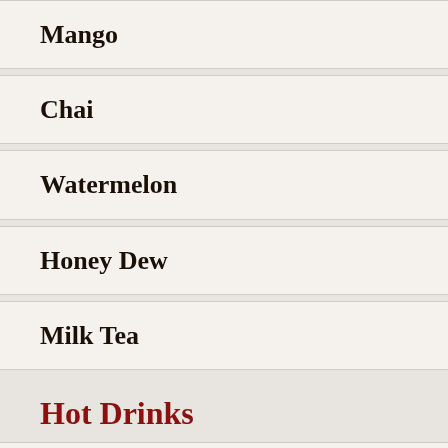Mango
Chai
Watermelon
Honey Dew
Milk Tea
Hot Drinks
Vietnamese Coffee